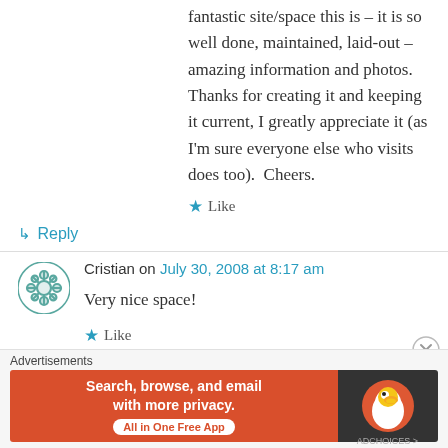fantastic site/space this is – it is so well done, maintained, laid-out – amazing information and photos.  Thanks for creating it and keeping it current, I greatly appreciate it (as I'm sure everyone else who visits does too).  Cheers.
★ Like
↳ Reply
Cristian on July 30, 2008 at 8:17 am
Very nice space!
★ Like
Advertisements
[Figure (screenshot): DuckDuckGo advertisement banner: orange left panel with text 'Search, browse, and email with more privacy. All in One Free App' and dark right panel with DuckDuckGo logo duck icon.]